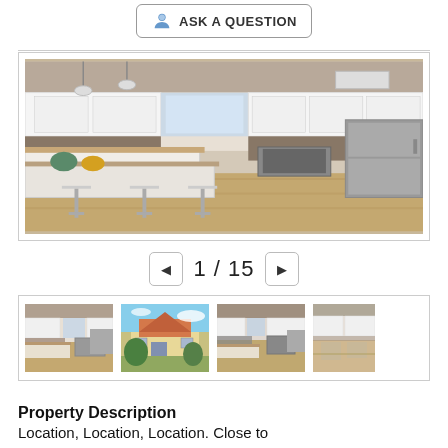ASK A QUESTION
[Figure (photo): Kitchen interior photo showing white cabinets, stainless steel appliances, mosaic tile backsplash, granite countertops with bar stools, and wood-look tile flooring]
1 / 15
[Figure (photo): Four thumbnail images of property photos: kitchen interior, exterior house front, kitchen again, and dining/living area]
Property Description
Location, Location, Location. Close to